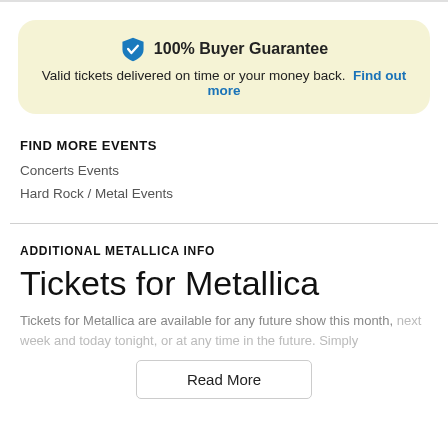[Figure (infographic): 100% Buyer Guarantee box with shield checkmark icon on yellow/cream background. Text: 'Valid tickets delivered on time or your money back. Find out more']
FIND MORE EVENTS
Concerts Events
Hard Rock / Metal Events
ADDITIONAL METALLICA INFO
Tickets for Metallica
Tickets for Metallica are available for any future show this month, next week and today tonight, or at any time in the future. Simply
Read More